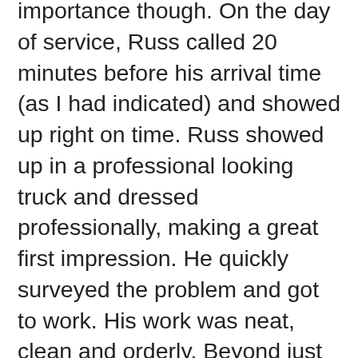importance though. On the day of service, Russ called 20 minutes before his arrival time (as I had indicated) and showed up right on time. Russ showed up in a professional looking truck and dressed professionally, making a great first impression. He quickly surveyed the problem and got to work. His work was neat, clean and orderly. Beyond just repairing the spring, he also did some maintenance – at no additional charge, tweaking the garage door opener and lubricating all the working parts of the door ensuring that everything was working properly. He reviewed what he had done including an additional part that was necessary that added $10 to the cost. He also told me about the 90 day warranty on the work. I am extremely pleased with Expert Garage Doors and will definitely recommend them to anyone needing their